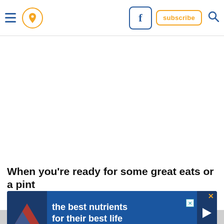Navigation bar with hamburger menu, location pin icon, Facebook icon, subscribe button, and search icon
[Figure (screenshot): Large blank white content area representing an unloaded image or advertisement region]
When you're ready for some great eats or a pint of beer, [ad overlay covers text] any to enjoy its warm, welcoming atmosphere and fabulous brews.
[Figure (advertisement): Hill's pet food advertisement banner reading 'the best nutrients for their best life' with Hill's logo on left and play button on right]
[Figure (photo): Partial photo strip at the bottom of the page, mostly obscured]